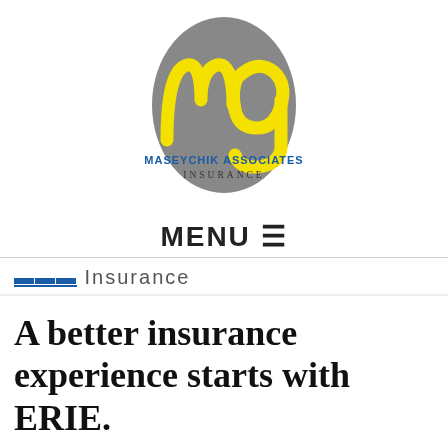[Figure (logo): Maseychik Associates Insurance logo: stylized yellow 'mg' script over a gray oval, with 'MASEYCHIK ASSOCIATES' in blue and 'INSURANCE' below in dark serif letters]
MENU ☰
Insurance
A better insurance experience starts with ERIE.
Haven't heard of us? Erie Insurance started with humble beginnings in 1925 with a mission to